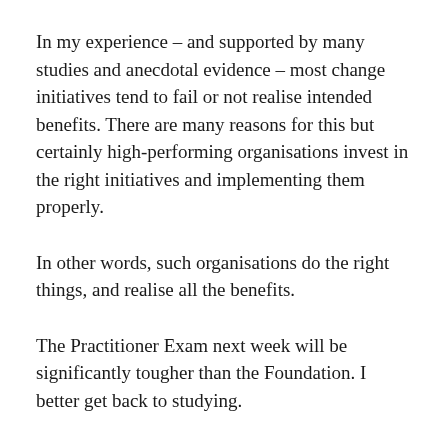In my experience – and supported by many studies and anecdotal evidence – most change initiatives tend to fail or not realise intended benefits. There are many reasons for this but certainly high-performing organisations invest in the right initiatives and implementing them properly.
In other words, such organisations do the right things, and realise all the benefits.
The Practitioner Exam next week will be significantly tougher than the Foundation. I better get back to studying.